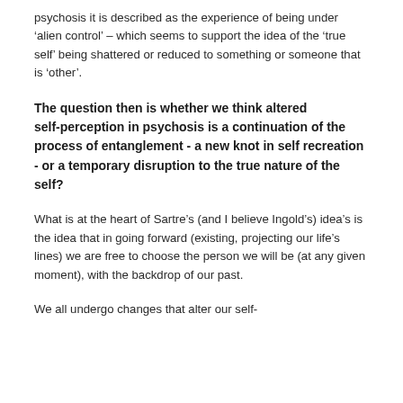psychosis it is described as the experience of being under ‘alien control’ – which seems to support the idea of the ‘true self’ being shattered or reduced to something or someone that is ‘other’.
The question then is whether we think altered self-perception in psychosis is a continuation of the process of entanglement - a new knot in self recreation - or a temporary disruption to the true nature of the self?
What is at the heart of Sartre’s (and I believe Ingold’s) idea’s is the idea that in going forward (existing, projecting our life’s lines) we are free to choose the person we will be (at any given moment), with the backdrop of our past.
We all undergo changes that alter our self-